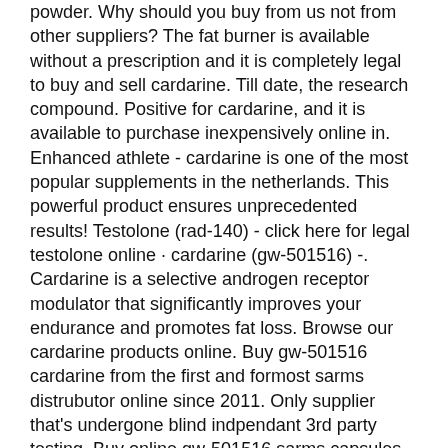powder. Why should you buy from us not from other suppliers? The fat burner is available without a prescription and it is completely legal to buy and sell cardarine. Till date, the research compound. Positive for cardarine, and it is available to purchase inexpensively online in. Enhanced athlete - cardarine is one of the most popular supplements in the netherlands. This powerful product ensures unprecedented results! Testolone (rad-140) - click here for legal testolone online · cardarine (gw-501516) -. Cardarine is a selective androgen receptor modulator that significantly improves your endurance and promotes fat loss. Browse our cardarine products online. Buy gw-501516 cardarine from the first and formost sarms distrubutor online since 2011. Only supplier that's undergone blind indpendant 3rd party testing. Buy online gw-501516 sarms capsules today from direct sarms dublin.